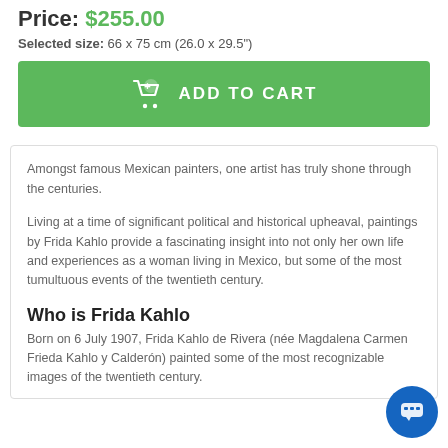Price: $255.00
Selected size: 66 x 75 cm (26.0 x 29.5")
[Figure (other): Green ADD TO CART button with shopping cart icon]
Amongst famous Mexican painters, one artist has truly shone through the centuries.
Living at a time of significant political and historical upheaval, paintings by Frida Kahlo provide a fascinating insight into not only her own life and experiences as a woman living in Mexico, but some of the most tumultuous events of the twentieth century.
Who is Frida Kahlo
Born on 6 July 1907, Frida Kahlo de Rivera (née Magdalena Carmen Frieda Kahlo y Calderón) painted some of the most recognizable images of the twentieth century.